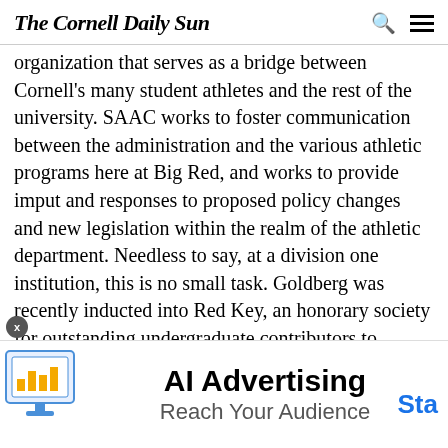The Cornell Daily Sun
organization that serves as a bridge between Cornell's many student athletes and the rest of the university. SAAC works to foster communication between the administration and the various athletic programs here at Big Red, and works to provide imput and responses to proposed policy changes and new legislation within the realm of the athletic department. Needless to say, at a division one institution, this is no small task. Goldberg was recently inducted into Red Key, an honorary society for outstanding undergraduate contributors to Cornell athletics and the Cornell community at large. In her free time, she enjoys traveling, spending time with friends and family, and exploring new and exciting places both
[Figure (infographic): AI Advertising banner ad with illustration of a computer monitor showing a bar chart, text 'AI Advertising', 'Reach Your Audience', and a blue 'Sta' (Start) call-to-action button]